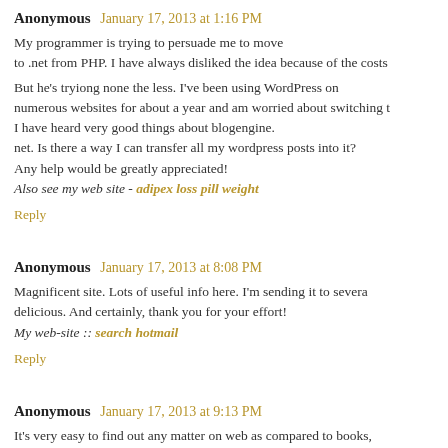Anonymous  January 17, 2013 at 1:16 PM
My programmer is trying to persuade me to move to .net from PHP. I have always disliked the idea because of the costs

But he's tryiong none the less. I've been using WordPress on numerous websites for about a year and am worried about switching t I have heard very good things about blogengine.
net. Is there a way I can transfer all my wordpress posts into it?
Any help would be greatly appreciated!
Also see my web site - adipex loss pill weight
Reply
Anonymous  January 17, 2013 at 8:08 PM
Magnificent site. Lots of useful info here. I'm sending it to severa delicious. And certainly, thank you for your effort!
My web-site :: search hotmail
Reply
Anonymous  January 17, 2013 at 9:13 PM
It's very easy to find out any matter on web as compared to books, page.
Feel free to visit my site ; reverse Hotmail Search